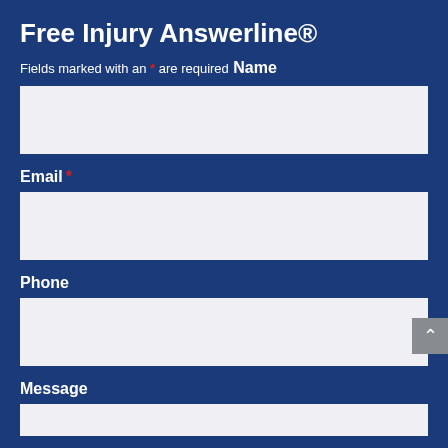Free Injury Answerline®
Fields marked with an * are required
Name
[Figure (other): Empty text input field for Name]
Email *
[Figure (other): Empty text input field for Email]
Phone
[Figure (other): Empty text input field for Phone]
Message
[Figure (other): Partially visible empty text input field for Message]